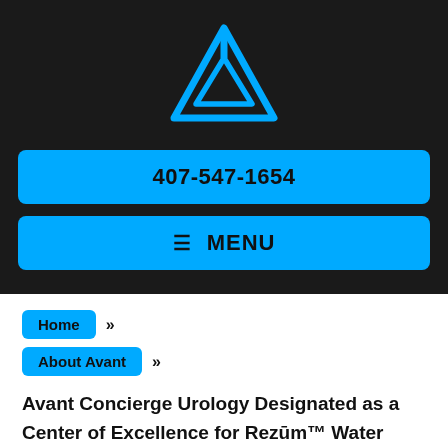[Figure (logo): Avant Concierge Urology logo — blue stylized triangle/arrow mark on dark background]
407-547-1654
≡ MENU
Home »
About Avant »
Avant Concierge Urology Designated as a Center of Excellence for Rezūm™ Water Vapor Therapy, a Treatment for Benign Prostatic Hyperplasia